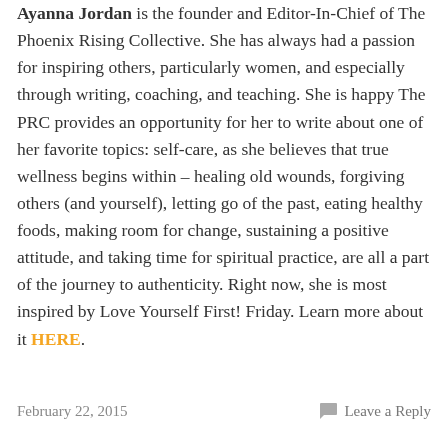Ayanna Jordan is the founder and Editor-In-Chief of The Phoenix Rising Collective. She has always had a passion for inspiring others, particularly women, and especially through writing, coaching, and teaching. She is happy The PRC provides an opportunity for her to write about one of her favorite topics: self-care, as she believes that true wellness begins within – healing old wounds, forgiving others (and yourself), letting go of the past, eating healthy foods, making room for change, sustaining a positive attitude, and taking time for spiritual practice, are all a part of the journey to authenticity. Right now, she is most inspired by Love Yourself First! Friday. Learn more about it HERE.
February 22, 2015    Leave a Reply